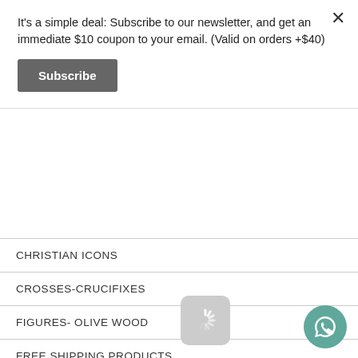It's a simple deal: Subscribe to our newsletter, and get an immediate $10 coupon to your email. (Valid on orders +$40)
Subscribe
CHRISTIAN ICONS
CROSSES-CRUCIFIXES
FIGURES- OLIVE WOOD
FREE SHIPPING PRODUCTS
GROUNDING SANDALS
HERBAL MEDICAL TEAS
HOLY LAND COSMETICS
HOME BLESSING